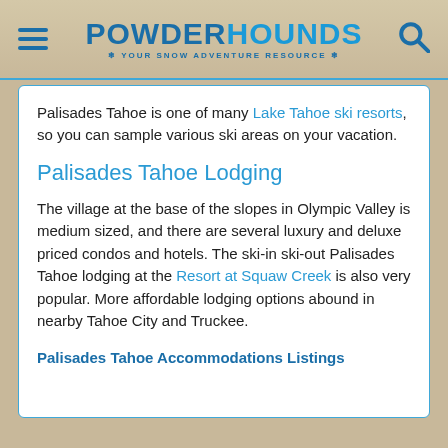POWDERHOUNDS — YOUR SNOW ADVENTURE RESOURCE
Palisades Tahoe is one of many Lake Tahoe ski resorts, so you can sample various ski areas on your vacation.
Palisades Tahoe Lodging
The village at the base of the slopes in Olympic Valley is medium sized, and there are several luxury and deluxe priced condos and hotels. The ski-in ski-out Palisades Tahoe lodging at the Resort at Squaw Creek is also very popular. More affordable lodging options abound in nearby Tahoe City and Truckee.
Palisades Tahoe Accommodations Listings